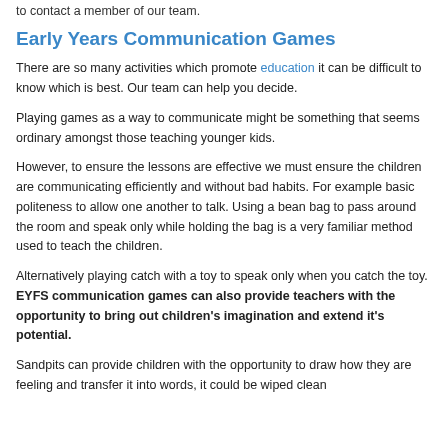to contact a member of our team.
Early Years Communication Games
There are so many activities which promote education it can be difficult to know which is best. Our team can help you decide.
Playing games as a way to communicate might be something that seems ordinary amongst those teaching younger kids.
However, to ensure the lessons are effective we must ensure the children are communicating efficiently and without bad habits. For example basic politeness to allow one another to talk. Using a bean bag to pass around the room and speak only while holding the bag is a very familiar method used to teach the children.
Alternatively playing catch with a toy to speak only when you catch the toy. EYFS communication games can also provide teachers with the opportunity to bring out children's imagination and extend it's potential.
Sandpits can provide children with the opportunity to draw how they are feeling and transfer it into words, it could be wiped clean and...